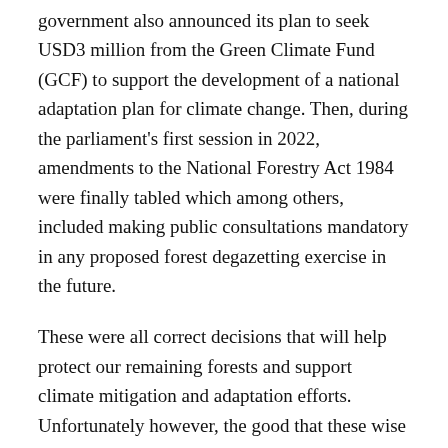government also announced its plan to seek USD3 million from the Green Climate Fund (GCF) to support the development of a national adaptation plan for climate change. Then, during the parliament's first session in 2022, amendments to the National Forestry Act 1984 were finally tabled which among others, included making public consultations mandatory in any proposed forest degazetting exercise in the future.
These were all correct decisions that will help protect our remaining forests and support climate mitigation and adaptation efforts. Unfortunately however, the good that these wise decisions may be able to do can easily be compromised by a number of avoidable and poor decisions that contradict them. For every far-sighted decision that has been made in the last year that can support the protection of forests, we find...